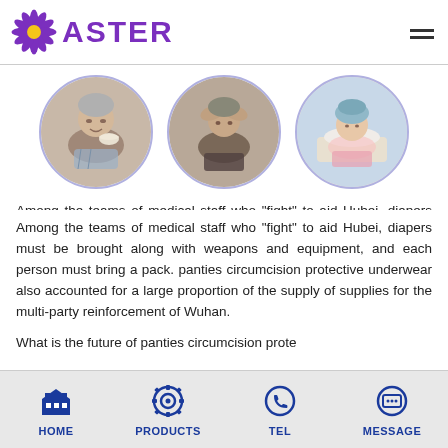ASTER
[Figure (photo): Three circular photos: elderly woman eating from a bowl, elderly person holding head in hands, woman in hospital bed with towel on head]
Among the teams of medical staff who "fight" to aid Hubei, diapers must be brought along with weapons and equipment, and each person must bring a pack. panties circumcision protective underwear also accounted for a large proportion of the supply of supplies for the multi-party reinforcement of Wuhan.
What is the future of panties circumcision protective underwear in the circumstances?
HOME   PRODUCTS   TEL   MESSAGE